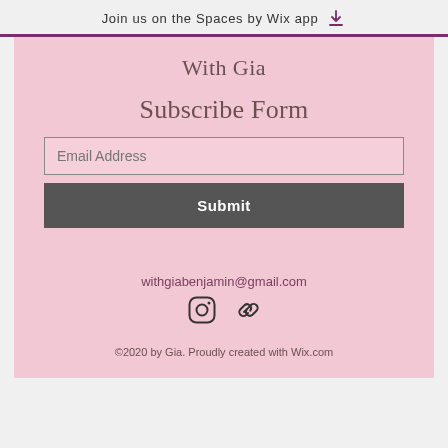Join us on the Spaces by Wix app
With Gia
Subscribe Form
Email Address
Submit
withgiabenjamin@gmail.com
[Figure (other): Social media icons: Instagram and link icon]
©2020 by Gia. Proudly created with Wix.com